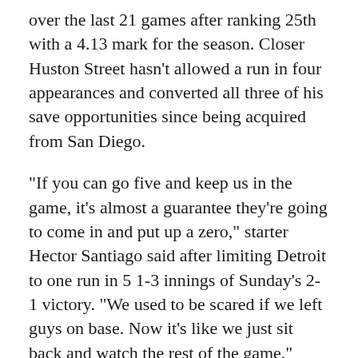over the last 21 games after ranking 25th with a 4.13 mark for the season. Closer Huston Street hasn't allowed a run in four appearances and converted all three of his save opportunities since being acquired from San Diego.
"If you can go five and keep us in the game, it's almost a guarantee they're going to come in and put up a zero," starter Hector Santiago said after limiting Detroit to one run in 5 1-3 innings of Sunday's 2-1 victory. "We used to be scared if we left guys on base. Now it's like we just sit back and watch the rest of the game."
Los Angeles, which ranks second in the majors with 4.9 runs per game, averaged just 3.0 runs during its 6-4 homestand, but has won six of seven on the road.